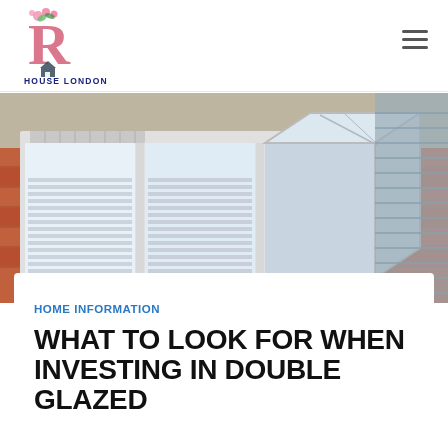[Figure (logo): Decorative letter R with floral design and text 'HOUSE LONDON' below it]
[Figure (photo): Exterior brick wall of a house with white double glazed windows, one casement window open outward]
HOME INFORMATION
WHAT TO LOOK FOR WHEN INVESTING IN DOUBLE GLAZED